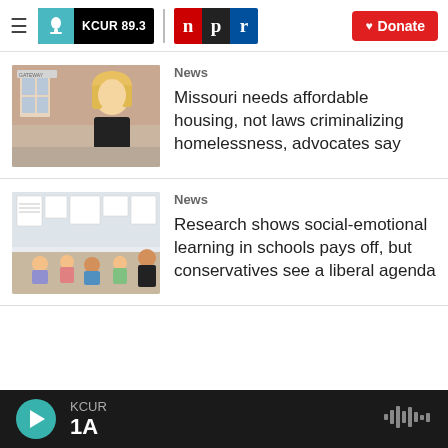KCUR 89.3 | NPR | Donate
[Figure (photo): Woman with blonde hair standing in front of a building with windows]
News
Missouri needs affordable housing, not laws criminalizing homelessness, advocates say
[Figure (photo): Children sitting on the floor in a classroom with charts on the wall]
News
Research shows social-emotional learning in schools pays off, but conservatives see a liberal agenda
KCUR 1A